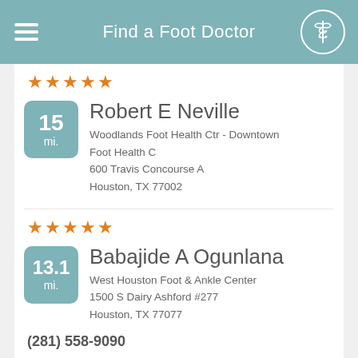Find a Foot Doctor
[Figure (other): 5 orange stars rating]
Robert E Neville
Woodlands Foot Health Ctr - Downtown Foot Health C
600 Travis Concourse A
Houston, TX 77002
[Figure (other): 5 orange stars rating]
Babajide A Ogunlana
West Houston Foot & Ankle Center
1500 S Dairy Ashford #277
Houston, TX 77077
(281) 558-9090
[Figure (other): 5 orange stars rating (partial view)]